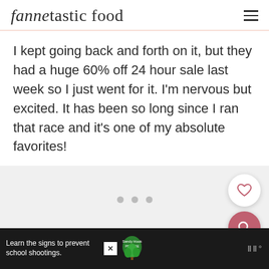fannetastic food
I kept going back and forth on it, but they had a huge 60% off 24 hour sale last week so I just went for it. I'm nervous but excited. It has been so long since I ran that race and it's one of my absolute favorites!
[Figure (other): Image carousel placeholder area with three dots indicating multiple slides, with a heart/favorite button and search button overlaid on the right side]
Learn the signs to prevent school shootings. Sandy Hook Promise [advertisement]